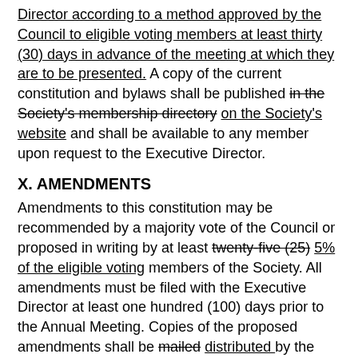Director according to a method approved by the Council to eligible voting members at least thirty (30) days in advance of the meeting at which they are to be presented. A copy of the current constitution and bylaws shall be published in the Society's membership directory on the Society's website and shall be available to any member upon request to the Executive Director.
X. AMENDMENTS
Amendments to this constitution may be recommended by a majority vote of the Council or proposed in writing by at least twenty-five (25) 5% of the eligible voting members of the Society. All amendments must be filed with the Executive Director at least one hundred (100) days prior to the Annual Meeting. Copies of the proposed amendments shall be mailed distributed by the Executive Director according to a method approved by the Council to all eligible voting members at least sixty (60) days in advance of the meeting at which they are to be presented.